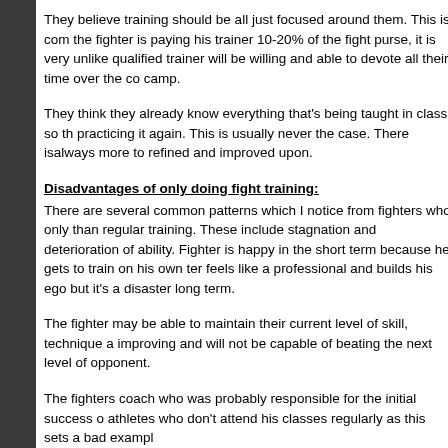They believe training should be all just focused around them. This is com the fighter is paying his trainer 10-20% of the fight purse, it is very unlike qualified trainer will be willing and able to devote all their time over the co camp.
They think they already know everything that's being taught in class so th practicing it again. This is usually never the case. There isalways more to refined and improved upon.
Disadvantages of only doing fight training:
There are several common patterns which I notice from fighters who only than regular training. These include stagnation and deterioration of ability Fighter is happy in the short term because he gets to train on his own ter feels like a professional and builds his ego but it's a disaster long term.
The fighter may be able to maintain their current level of skill, technique a improving and will not be capable of beating the next level of opponent.
The fighters coach who was probably responsible for the initial success o athletes who don't attend his classes regularly as this sets a bad exampl
This often leads to the fighter finding other coaches who are willing to wo replacement coaches are inexperienced and just trying to make a name ultimately do more harm tahn good to the fighters career.